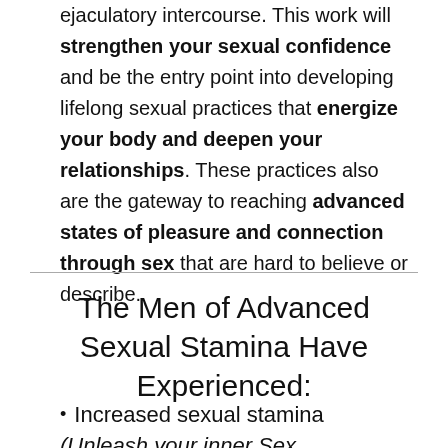ejaculatory intercourse. This work will strengthen your sexual confidence and be the entry point into developing lifelong sexual practices that energize your body and deepen your relationships. These practices also are the gateway to reaching advanced states of pleasure and connection through sex that are hard to believe or describe.
The Men of Advanced Sexual Stamina Have Experienced:
Increased sexual stamina
(Unleash your inner Sex